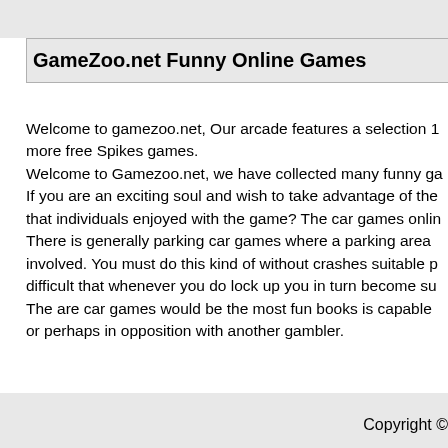GameZoo.net Funny Online Games
Welcome to gamezoo.net, Our arcade features a selection 1 more free Spikes games.
Welcome to Gamezoo.net, we have collected many funny ga If you are an exciting soul and wish to take advantage of the that individuals enjoyed with the game? The car games onlin There is generally parking car games where a parking area involved. You must do this kind of without crashes suitable p difficult that whenever you do lock up you in turn become su The are car games would be the most fun books is capable or perhaps in opposition with another gambler.
Copyright ©